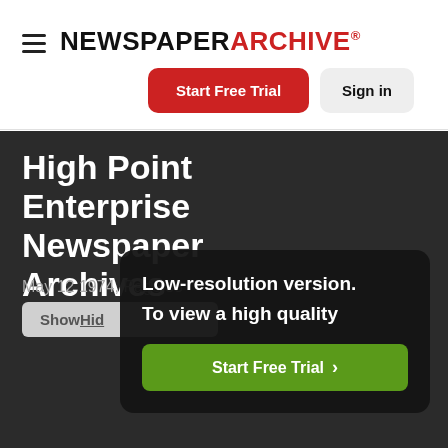NEWSPAPERARCHIVE®
Start Free Trial
Sign in
High Point Enterprise Newspaper Archives
May 12 1974, Page 38
ShowHid
Low-resolution version. To view a high quality
Start Free Trial >